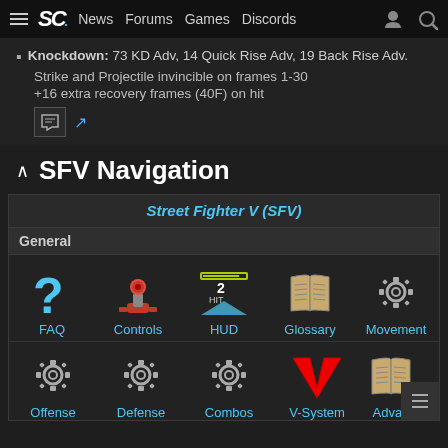SC. News Forums Games Discords
Knockdown: 73 KD Adv, 14 Quick Rise Adv, 19 Back Rise Adv.
Strike and Projectile invincible on frames 1-30
+16 extra recovery frames (40F) on hit
SFV Navigation
Street Fighter V (SFV)
General
[Figure (infographic): Navigation icons grid: FAQ (blue question mark), Controls (joystick), HUD (game HUD icon), Glossary (open book), Movement (gear icon)]
[Figure (infographic): Second row navigation icons: Offense (gear), Defense (gear), Combos (gear), V-System (red V chevron), Advan... (open book, partially visible)]